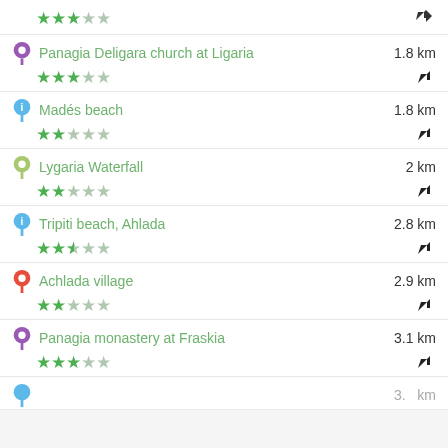★★★☆☆ (top partial item)
Panagia Deligara church at Ligaria – 1.8 km – ★★★☆☆
Madés beach – 1.8 km – ★★☆☆☆
Lygaria Waterfall – 2 km – ★★☆☆☆
Tripiti beach, Ahlada – 2.8 km – ★★★☆☆
Achlada village – 2.9 km – ★★☆☆☆
Panagia monastery at Fraskia – 3.1 km – ★★★☆☆